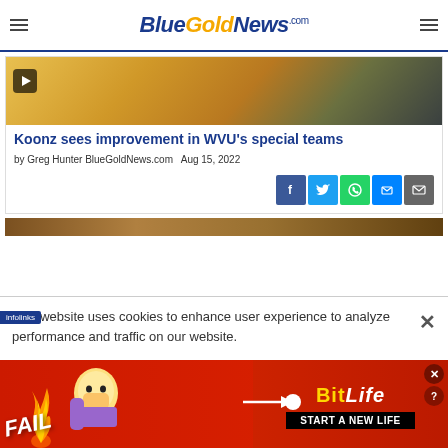BlueGoldNews.com
[Figure (photo): Football players in gold uniforms, partial torsos visible]
Koonz sees improvement in WVU's special teams
by Greg Hunter BlueGoldNews.com  Aug 15, 2022
[Figure (infographic): Social share buttons: Facebook, Twitter, WhatsApp, Messenger, Email]
[Figure (photo): Partial view of second article image]
This website uses cookies to enhance user experience to analyze performance and traffic on our website.
[Figure (infographic): BitLife advertisement banner: FAIL - START A NEW LIFE]